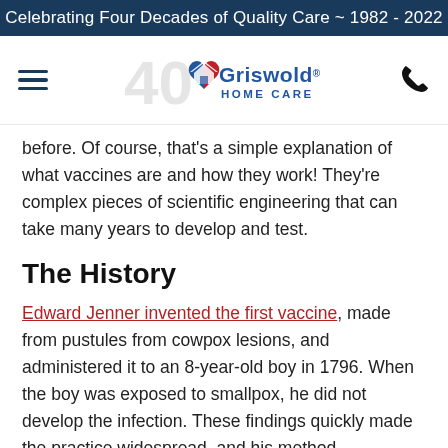Celebrating Four Decades of Quality Care ~ 1982 - 2022
[Figure (logo): Griswold Home Care 40th anniversary logo with hamburger menu icon on left and phone icon on right]
before. Of course, that's a simple explanation of what vaccines are and how they work! They're complex pieces of scientific engineering that can take many years to develop and test.
The History
Edward Jenner invented the first vaccine, made from pustules from cowpox lesions, and administered it to an 8-year-old boy in 1796. When the boy was exposed to smallpox, he did not develop the infection. These findings quickly made the practice widespread, and his method